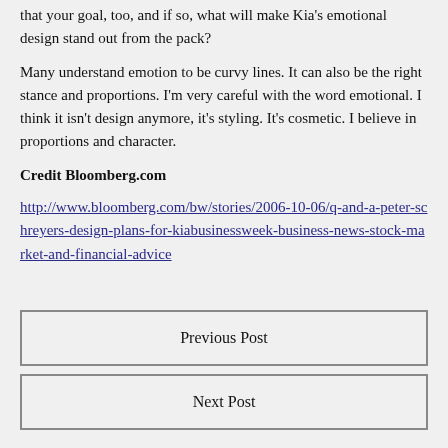that your goal, too, and if so, what will make Kia's emotional design stand out from the pack?
Many understand emotion to be curvy lines. It can also be the right stance and proportions. I'm very careful with the word emotional. I think it isn't design anymore, it's styling. It's cosmetic. I believe in proportions and character.
Credit Bloomberg.com
http://www.bloomberg.com/bw/stories/2006-10-06/q-and-a-peter-schreyers-design-plans-for-kiabusinessweek-business-news-stock-market-and-financial-advice
Previous Post
Next Post